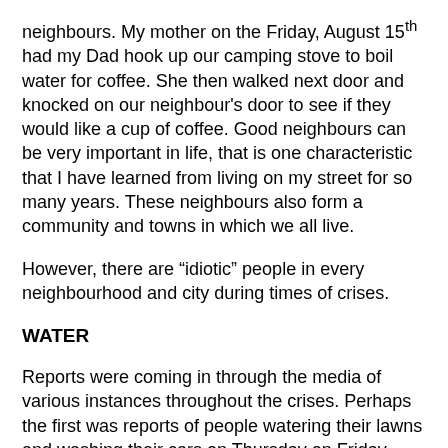neighbours. My mother on the Friday, August 15th had my Dad hook up our camping stove to boil water for coffee. She then walked next door and knocked on our neighbour's door to see if they would like a cup of coffee. Good neighbours can be very important in life, that is one characteristic that I have learned from living on my street for so many years. These neighbours also form a community and towns in which we all live.
However, there are “idiotic” people in every neighbourhood and city during times of crises.
WATER
Reports were coming in through the media of various instances throughout the crises. Perhaps the first was reports of people watering their lawns and washing their cars on Thursday on Friday. The problem is once the power goes out, the electric pumps that draw water from aquifers and lakes stop working unless they are powered by back-up generators. Thus, if water systems are overburdened two things start to become a problem: